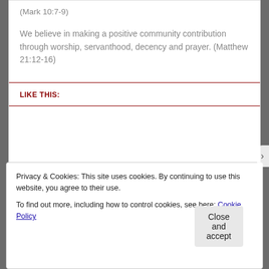(Mark 10:7-9)
We believe in making a positive community contribution through worship, servanthood, decency and prayer. (Matthew 21:12-16)
LIKE THIS:
Privacy & Cookies: This site uses cookies. By continuing to use this website, you agree to their use.
To find out more, including how to control cookies, see here: Cookie Policy
Close and accept